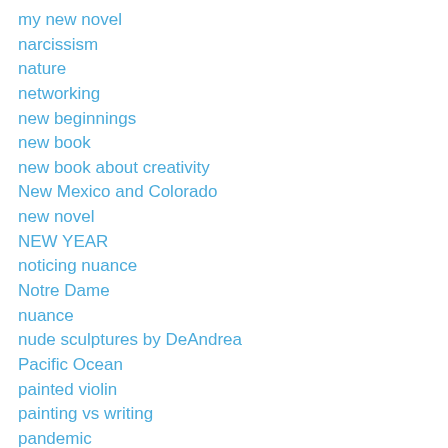my new novel
narcissism
nature
networking
new beginnings
new book
new book about creativity
New Mexico and Colorado
new novel
NEW YEAR
noticing nuance
Notre Dame
nuance
nude sculptures by DeAndrea
Pacific Ocean
painted violin
painting vs writing
pandemic
paradigm shift
Paris